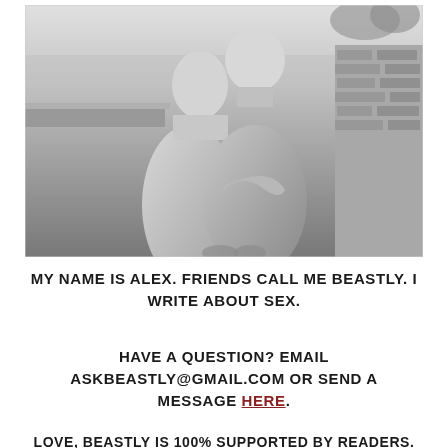[Figure (photo): Black and white photograph of two older men embracing from behind on a rooftop or terrace, with a city skyline and brick wall visible in the background. One man faces the camera while the other has his back turned. Both are shirtless.]
MY NAME IS ALEX. FRIENDS CALL ME BEASTLY. I WRITE ABOUT SEX.
HAVE A QUESTION? EMAIL ASKBEASTLY@GMAIL.COM OR SEND A MESSAGE HERE.
LOVE, BEASTLY IS 100% SUPPORTED BY READERS.